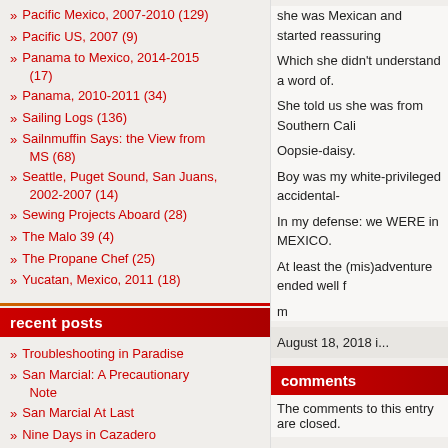Pacific Mexico, 2007-2010 (129)
Pacific US, 2007 (9)
Panama to Mexico, 2014-2015 (17)
Panama, 2010-2011 (34)
Sailing Logs (136)
Sailnmuffin Says: the View from MS (68)
Seattle, Puget Sound, San Juans, 2002-2007 (14)
Sewing Projects Aboard (28)
The Malo 39 (4)
The Propane Chef (25)
Yucatan, Mexico, 2011 (18)
recent posts
Troubleshooting in Paradise
San Marcial: A Precautionary Note
San Marcial At Last
Nine Days in Cazadero
Hunkered Down in Cazadero
The Cazadero That Wouldn't Die
Again to Cazadero
Two Destinations in One Day
Return to The Hook
El Cardonal to Ensenada Grande
she was Mexican and started reassuring...
Which she didn't understand a word of.
She told us she was from Southern Cali...
Oopsie-daisy.
Boy was my white-privileged accidental-...
In my defense: we WERE in MEXICO.
At least the (mis)adventure ended well f...
m
August 18, 2018 i...
comments
The comments to this entry are closed.